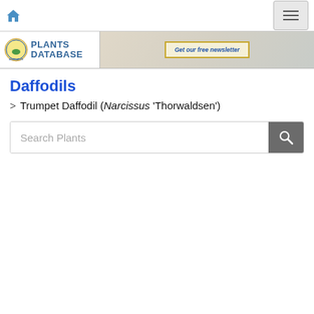Plants Database - National Gardening Association
[Figure (logo): National Gardening Association Plants Database logo with circular emblem and text]
[Figure (screenshot): Get our free newsletter button in banner area]
Daffodils
> Trumpet Daffodil (Narcissus 'Thorwaldsen')
Search Plants